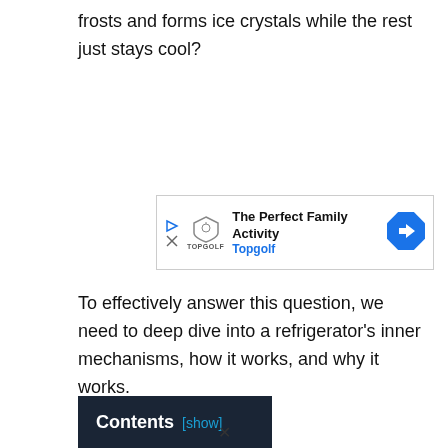frosts and forms ice crystals while the rest just stays cool?
[Figure (other): Advertisement banner for Topgolf: 'The Perfect Family Activity' with Topgolf logo and navigation arrow icon]
To effectively answer this question, we need to deep dive into a refrigerator’s inner mechanisms, how it works, and why it works.
Contents [show]